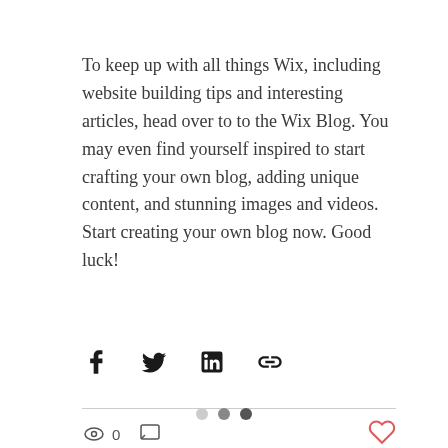To keep up with all things Wix, including website building tips and interesting articles, head over to to the Wix Blog. You may even find yourself inspired to start crafting your own blog, adding unique content, and stunning images and videos. Start creating your own blog now. Good luck!
[Figure (infographic): Social share icons: Facebook, Twitter, LinkedIn, and a chain/link icon]
[Figure (infographic): Engagement bar with eye/views icon showing 0 views, a comment icon, and a heart/like icon in red on the right]
[Figure (infographic): Pagination dots: three dots, first is light gray (empty), second is medium gray, third is dark gray]